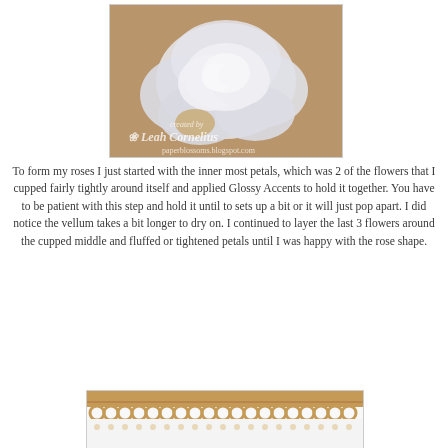[Figure (photo): Photo of a white rose flower made from paper/vellum on a kraft paper background, with watermark text 'created by Leah Cornelius paperblossoms.blogspot.com' overlaid in white script]
To form my roses I just started with the inner most petals, which was 2 of the flowers that I cupped fairly tightly around itself and applied Glossy Accents to hold it together. You have to be patient with this step and hold it until to sets up a bit or it will just pop apart. I did notice the vellum takes a bit longer to dry on. I continued to layer the last 3 flowers around the cupped middle and fluffed or tightened petals until I was happy with the rose shape.
[Figure (photo): Partial photo showing a decorative lace or border trim strip on a tan/kraft background with white paper beneath it]